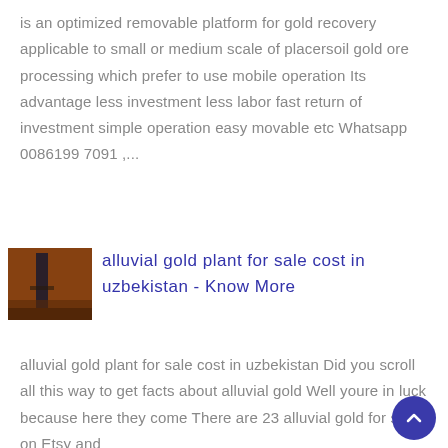is an optimized removable platform for gold recovery applicable to small or medium scale of placersoil gold ore processing which prefer to use mobile operation Its advantage less investment less labor fast return of investment simple operation easy movable etc Whatsapp 0086199 7091 ,...
[Figure (photo): Thumbnail image of a mining or industrial scene with brown/orange tones and a dark vertical structure]
alluvial gold plant for sale cost in uzbekistan - Know More
alluvial gold plant for sale cost in uzbekistan Did you scroll all this way to get facts about alluvial gold Well youre in luck because here they come There are 23 alluvial gold for sale on Etsy and